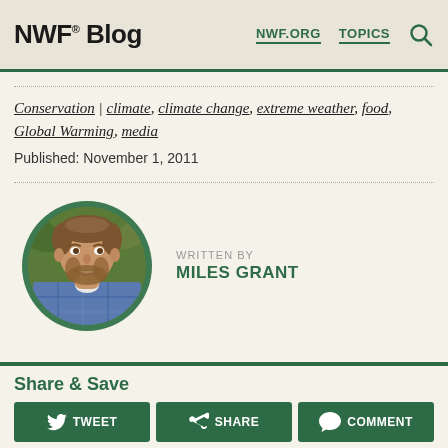NWF® Blog  NWF.ORG  TOPICS
Conservation | climate, climate change, extreme weather, food, Global Warming, media
Published: November 1, 2011
[Figure (photo): Circular portrait photo of Miles Grant, a man with a beard smiling, wearing a plaid shirt, outdoors with green background]
WRITTEN BY
MILES GRANT
Share & Save
TWEET  SHARE  COMMENT